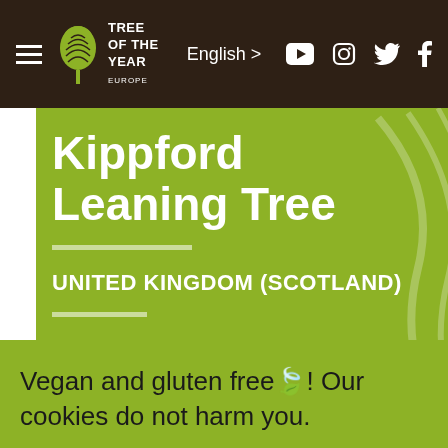Tree of the Year Europe — Navigation bar with logo, English language switcher, YouTube, Instagram, Twitter, Facebook icons
Kippford Leaning Tree
UNITED KINGDOM (SCOTLAND)
Vegan and gluten free🍃! Our cookies do not harm you.
Settings
ACCEPT ALL